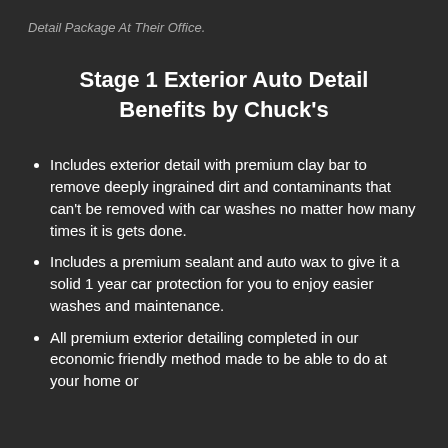Detail Package At Their Office.
Stage 1 Exterior Auto Detail Benefits by Chuck's
Includes exterior detail with premium clay bar to remove deeply ingrained dirt and contaminants that can't be removed with car washes no matter how many times it is gets done.
Includes a premium sealant and auto wax to give it a solid 1 year car protection for you to enjoy easier washes and maintenance.
All premium exterior detailing completed in our economic friendly method made to be able to do at your home or